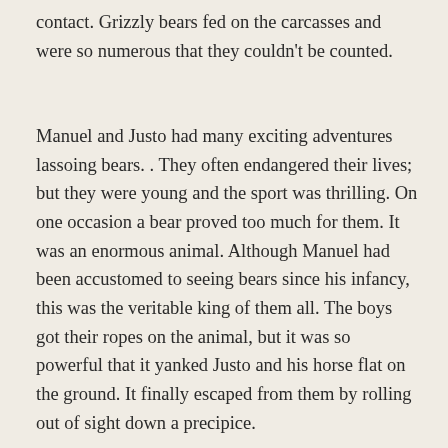contact. Grizzly bears fed on the carcasses and were so numerous that they couldn't be counted.
Manuel and Justo had many exciting adventures lassoing bears. . They often endangered their lives; but they were young and the sport was thrilling. On one occasion a bear proved too much for them. It was an enormous animal. Although Manuel had been accustomed to seeing bears since his infancy, this was the veritable king of them all. The boys got their ropes on the animal, but it was so powerful that it yanked Justo and his horse flat on the ground. It finally escaped from them by rolling out of sight down a precipice.